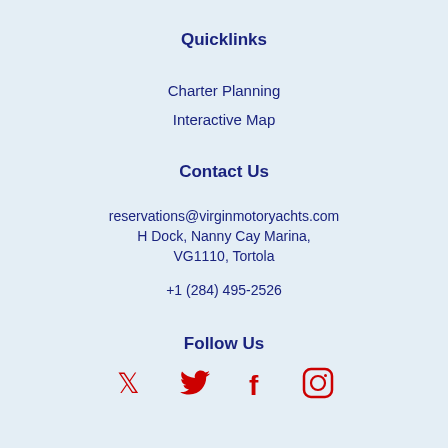Quicklinks
Charter Planning
Interactive Map
Contact Us
reservations@virginmotoryachts.com
H Dock, Nanny Cay Marina,
VG1110, Tortola

+1 (284) 495-2526
Follow Us
[Figure (illustration): Social media icons: Twitter (bird), Facebook (f), Instagram (camera outline) in red]